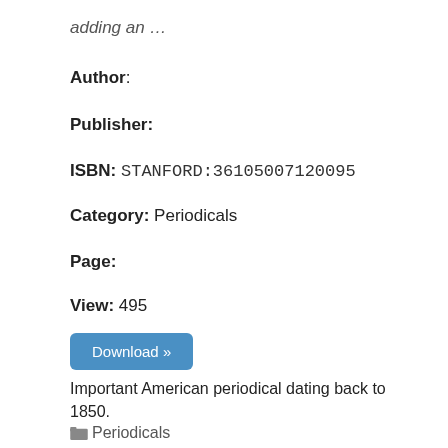adding an …
Author:
Publisher:
ISBN: STANFORD:36105007120095
Category: Periodicals
Page:
View: 495
Download »
Important American periodical dating back to 1850.
Periodicals